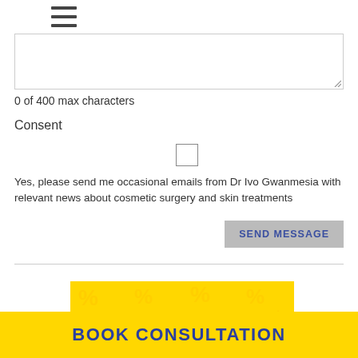[Figure (other): Hamburger menu icon (three horizontal lines)]
0 of 400 max characters
Consent
Yes, please send me occasional emails from Dr Ivo Gwanmesia with relevant news about cosmetic surgery and skin treatments
SEND MESSAGE
[Figure (illustration): Yellow banner with repeating percentage/financial pattern icons and the word Finance in bold black text]
BOOK CONSULTATION